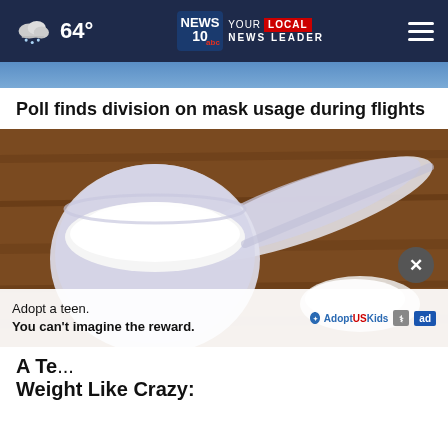64° | NEWS 10 abc YOUR LOCAL NEWS LEADER
Poll finds division on mask usage during flights
[Figure (photo): A plastic measuring scoop filled with white powder on a wooden surface, with some powder spilled beside it]
Adopt a teen. You can't imagine the reward. AdoptUSKids ad
A Te... Weight Like Crazy: